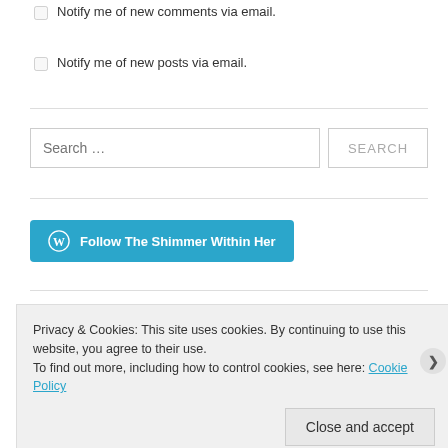Notify me of new comments via email.
Notify me of new posts via email.
Search …
Follow The Shimmer Within Her
Privacy & Cookies: This site uses cookies. By continuing to use this website, you agree to their use. To find out more, including how to control cookies, see here: Cookie Policy
Close and accept